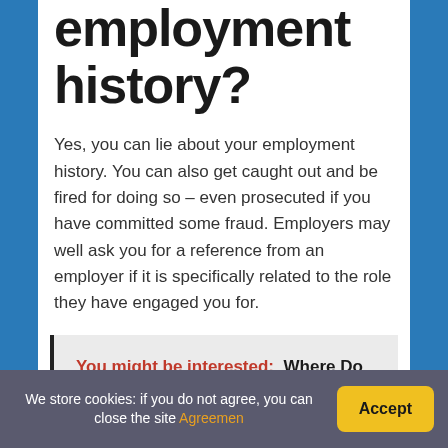employment history?
Yes, you can lie about your employment history. You can also get caught out and be fired for doing so – even prosecuted if you have committed some fraud. Employers may well ask you for a reference from an employer if it is specifically related to the role they have engaged you for.
You might be interested:  Where Do Enter Self Employment Turbotax?
We store cookies: if you do not agree, you can close the site Agreemen